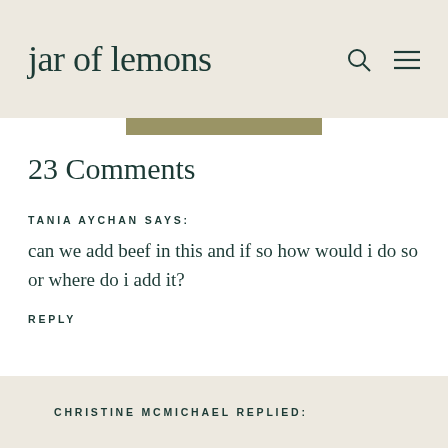jar of lemons
23 Comments
TANIA AYCHAN SAYS:
can we add beef in this and if so how would i do so or where do i add it?
REPLY
CHRISTINE MCMICHAEL REPLIED: